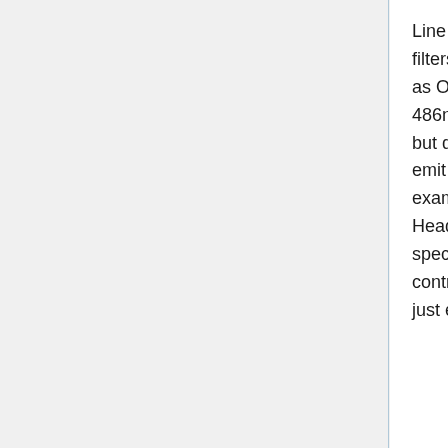Line filters are even more strict about what they permit than narrowband filters are. They allow transmission of only specific spectral lines, such as Oxygen III at 501nm and 496nm wavelengths or Hydrogen Beta at 486nm wavelength. Thus line filters offer the highest possible contrast, but do so at the expense of the most view brightness. Certain nebulae emit light more strongly in the O-III or H-Beta part of the spectrum. For example, the ionized gas that acts as a backdrop behind the Horse Head Nebula emits light most strongly in the H-Beta part of the spectrum, and is very low contrast. A UHC filter is often not high enough contrast to show it, an O-III filter can block it, but an H-Beta filter can be just enough to reveal it.